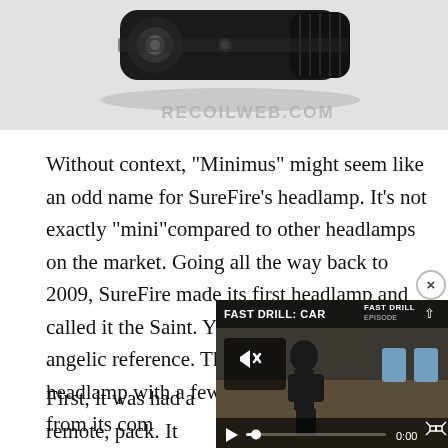[Figure (photo): Close-up photo of SureFire headlamp/flashlight device on gray background with RECOILWEB.COM watermark]
Without context, “Minimus” might seem like an odd name for SureFire’s headlamp. It’s not exactly “mini”compared to other headlamps on the market. Going all the way back to 2009, SureFire made its first headlamp and called it the Saint. Yep, the name is an obvious angelic reference. The Saint was a 100 lumen headlamp with a few features setting it apart from its com
First, it was had a remote,… pack. It featured a novel, c…
[Figure (screenshot): Video player overlay showing FAST DRILL: CAR video with mute icon, play button, progress bar at 0:00, and target icons visible. Close button (x) in top right.]